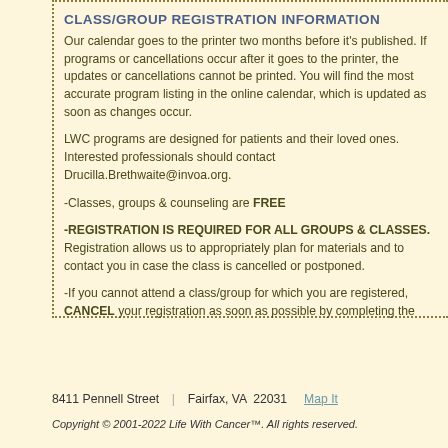CLASS/GROUP REGISTRATION INFORMATION
Our calendar goes to the printer two months before it's published. If programs or cancellations occur after it goes to the printer, the updates or cancellations cannot be printed. You will find the most accurate program listing in the online calendar, which is updated as soon as changes occur.
LWC programs are designed for patients and their loved ones. Interested professionals should contact Drucilla.Brethwaite@invoa.org.
-Classes, groups & counseling are FREE
-REGISTRATION IS REQUIRED FOR ALL GROUPS & CLASSES. Registration allows us to appropriately plan for materials and to contact you in case the class is cancelled or postponed.
-If you cannot attend a class/group for which you are registered, CANCEL your registration as soon as possible by completing the online cancellation form or calling 703.698.2526; this will allow another person to attend.
8411 Pennell Street | Fairfax, VA 22031   Map It
Copyright © 2001-2022 Life With Cancer™. All rights reserved.   Home | Class R…